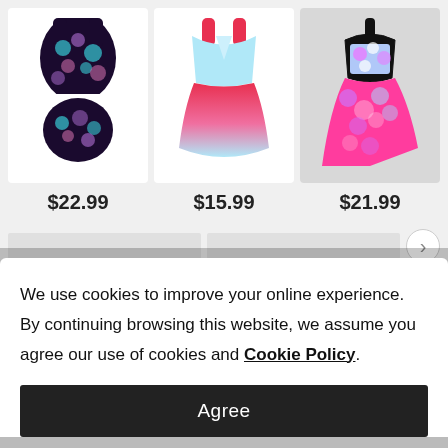[Figure (photo): Three swimwear product images shown in a horizontal grid with prices below each. Left: dark floral cut-out one-piece swimsuit, $22.99. Center: red-to-light-blue ombre swim dress, $15.99. Right: pink/blue/white halter asymmetric tankini/swimsuit, $21.99.]
We use cookies to improve your online experience. By continuing browsing this website, we assume you agree our use of cookies and Cookie Policy.
Agree